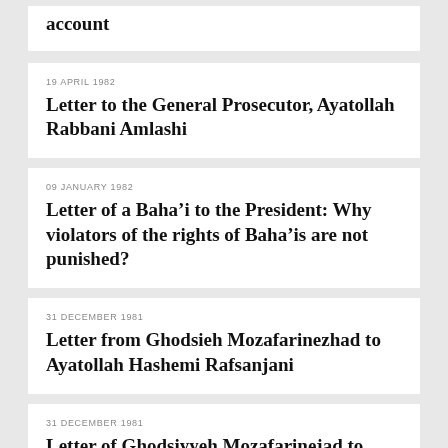account
19 APRIL 1982
Letter to the General Prosecutor, Ayatollah Rabbani Amlashi
09 JANUARY 1982
Letter of a Baha’i to the President: Why violators of the rights of Baha’is are not punished?
31 DECEMBER 1981
Letter from Ghodsieh Mozafarinezhad to Ayatollah Hashemi Rafsanjani
31 DECEMBER 1981
Letter of Ghodsiyyeh Mozafarinejad to